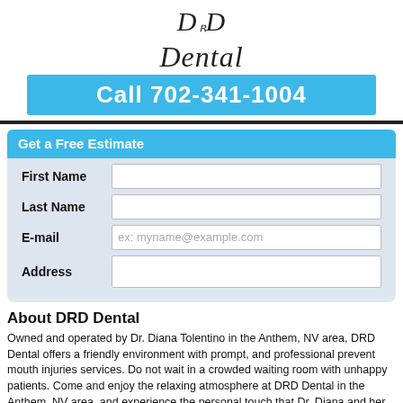[Figure (logo): DRD Dental logo in italic serif script]
Call 702-341-1004
Get a Free Estimate
First Name
Last Name
E-mail
Address
About DRD Dental
Owned and operated by Dr. Diana Tolentino in the Anthem, NV area, DRD Dental offers a friendly environment with prompt, and professional prevent mouth injuries services. Do not wait in a crowded waiting room with unhappy patients. Come and enjoy the relaxing atmosphere at DRD Dental in the Anthem, NV area, and experience the personal touch that Dr. Diana and her knowledgeable staff provide when it comes to your prevent mouth injuries services. For all of your prevent mouth injuries services in the Anthem, NV area, give us a call at 702-341-1004.